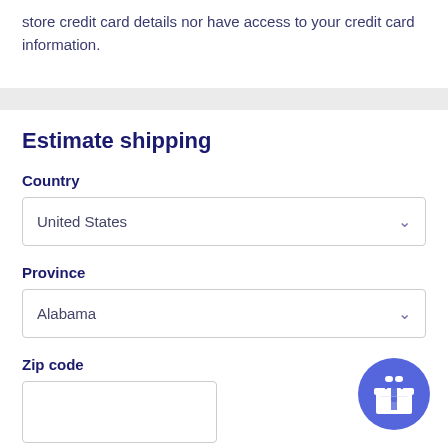store credit card details nor have access to your credit card information.
Estimate shipping
Country
United States
Province
Alabama
Zip code
[Figure (illustration): Blue circular gift/reward button icon with a gift box symbol in white]